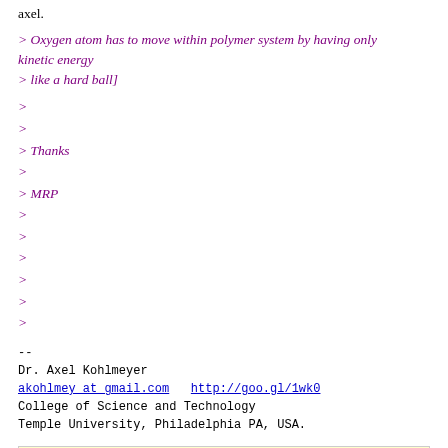axel.
> Oxygen atom has to move within polymer system by having only kinetic energy
> like a hard ball]
>
>
> Thanks
>
> MRP
>
>
>
>
>
>
--
Dr. Axel Kohlmeyer
akohlmey at gmail.com   http://goo.gl/1wk0
College of Science and Technology
Temple University, Philadelphia PA, USA.
Next message: M.Raviprasad: "RE: Hard sphere potential"